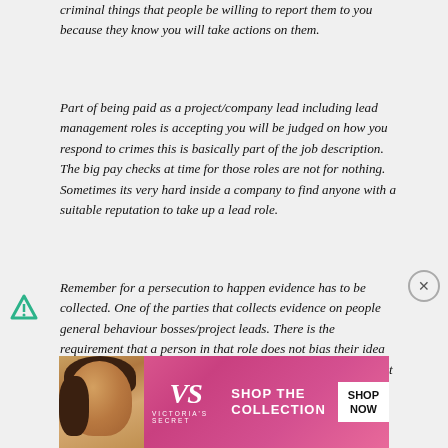criminal things that people be willing to report them to you because they know you will take actions on them.
Part of being paid as a project/company lead including lead management roles is accepting you will be judged on how you respond to crimes this is basically part of the job description. The big pay checks at time for those roles are not for nothing. Sometimes its very hard inside a company to find anyone with a suitable reputation to take up a lead role.
Remember for a persecution to happen evidence has to be collected. One of the parties that collects evidence on people general behaviour bosses/project leads. There is the requirement that a person in that role does not bias their idea of a person with their personal option instead is able to look at their diary
[Figure (other): Victoria's Secret advertisement banner showing a woman model on the left, VS logo in center-left, 'SHOP THE COLLECTION' text in white, and a 'SHOP NOW' white button on the right, all on a pink gradient background.]